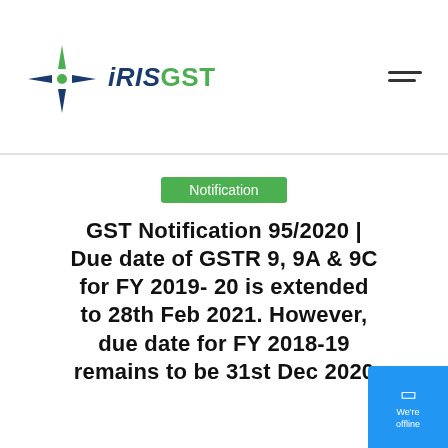[Figure (logo): iRIS GST logo with a blue star/compass icon on the left and the text iRIS in blue italic and GST in green]
Notification
GST Notification 95/2020 | Due date of GSTR 9, 9A & 9C for FY 2019- 20 is extended to 28th Feb 2021. However, due date for FY 2018-19 remains to be 31st Dec 2020